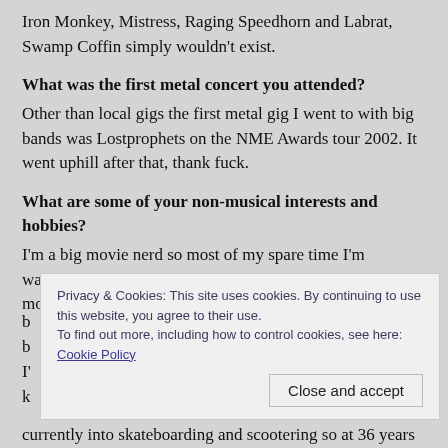Iron Monkey, Mistress, Raging Speedhorn and Labrat, Swamp Coffin simply wouldn't exist.
What was the first metal concert you attended?
Other than local gigs the first metal gig I went to with big bands was Lostprophets on the NME Awards tour 2002. It went uphill after that, thank fuck.
What are some of your non-musical interests and hobbies?
I'm a big movie nerd so most of my spare time I'm watching films. I'm on a big folk horror kick at the moment so I'm b... b... I'... k...
Privacy & Cookies: This site uses cookies. By continuing to use this website, you agree to their use.
To find out more, including how to control cookies, see here: Cookie Policy
currently into skateboarding and scootering so at 36 years